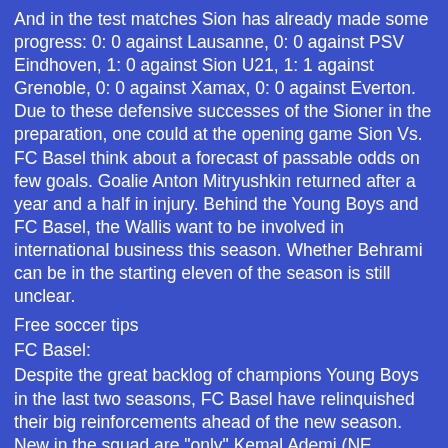And in the test matches Sion has already made some progress: 0: 0 against Lausanne, 0: 0 against PSV Eindhoven, 1: 0 against Sion U21, 1: 1 against Grenoble, 0: 0 against Xamax, 0: 0 against Everton. Due to these defensive successes of the Sioner in the preparation, one could at the opening game Sion Vs. FC Basel think about a forecast of passable odds on few goals. Goalie Anton Mitryushkin returned after a year and a half in injury. Behind the Young Boys and FC Basel, the Wallis want to be involved in international business this season. Whether Behrami can be in the starting eleven of the season is still unclear.
Free soccer tips
FC Basel:
Despite the great backlog of champions Young Boys in the last two seasons, FC Basel have relinquished their big reinforcements ahead of the new season. New in the squad are "only" Kemal Ademi (NE Xamax) and Omar Alderete (Huracan). The "Bebbi" had to cope with the departure of Captain Marek Suchy to Augsburg. The FCB relies on a well-rehearsed team and young players.
Free soccer tips
Furthermore, coach Marcel Koller has the confidence of those responsible. There was a change only in the position of the